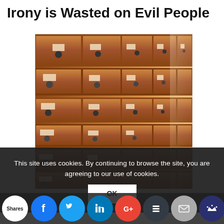Irony is Wasted on Evil People
[Figure (photo): Photograph of a long wall of wooden library card catalog drawers with metal handles and label holders, receding into the background with perspective, warmly lit.]
This site uses cookies. By continuing to browse the site, you are agreeing to our use of cookies.
OK
Shares